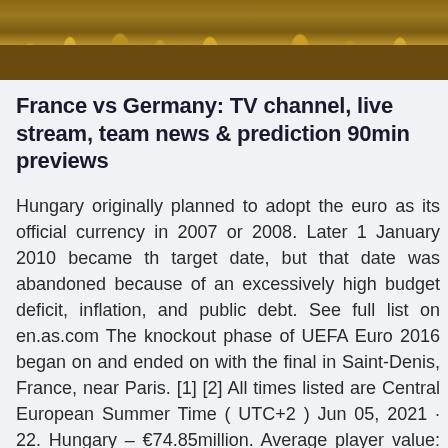[Figure (photo): Landscape photo showing dry shrubby terrain with yellow-brown dried grasses and sparse desert vegetation on reddish-brown soil]
France vs Germany: TV channel, live stream, team news & prediction 90min previews
Hungary originally planned to adopt the euro as its official currency in 2007 or 2008. Later 1 January 2010 became the target date, but that date was abandoned because of an excessively high budget deficit, inflation, and public debt. See full list on en.as.com The knockout phase of UEFA Euro 2016 began on and ended on with the final in Saint-Denis, France, near Paris. [1] [2] All times listed are Central European Summer Time ( UTC+2 ) Jun 05, 2021 · 22. Hungary – €74.85million. Average player value: €2.88m Most valuable player: Willi Orban (€16m) Hungary have the toughest task in the competition – their group games will b